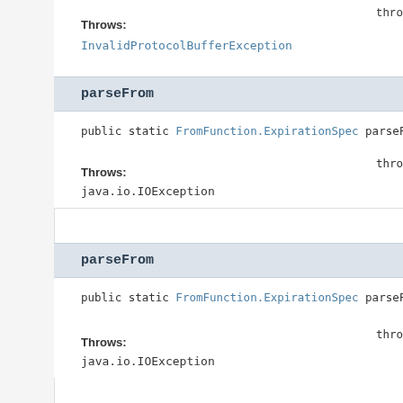thr  (cut off at top right)
Throws:
InvalidProtocolBufferException
parseFrom
public static FromFunction.ExpirationSpec parseFr  thr 
Throws:
java.io.IOException
parseFrom
public static FromFunction.ExpirationSpec parseFr  thr 
Throws:
java.io.IOException